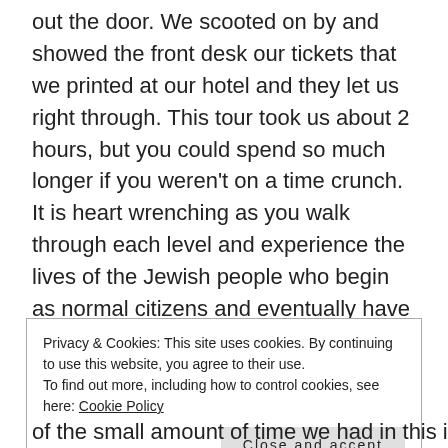out the door. We scooted on by and showed the front desk our tickets that we printed at our hotel and they let us right through. This tour took us about 2 hours, but you could spend so much longer if you weren't on a time crunch. It is heart wrenching as you walk through each level and experience the lives of the Jewish people who begin as normal citizens and eventually have everything stripped away from them. For children, the first floor has a walk-through story about a Jewish child whose life is turned upside down by the Nazis. Although still very real and very sad, this portion of the museum is less graphic.
Privacy & Cookies: This site uses cookies. By continuing to use this website, you agree to their use.
To find out more, including how to control cookies, see here: Cookie Policy
Close and accept
of the small amount of time we had in this incredible place